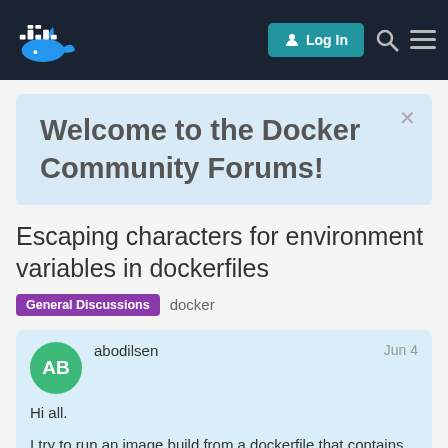Docker Community Forums — Log In
Welcome to the Docker Community Forums!
Escaping characters for environment variables in dockerfiles
General Discussions  docker
abodilsen  Jun 4
Hi all.

I try to run an image build from a dockerfile that contains the below environment variables:

ENV SURFSHARK_USER="REPLACED@gmail.com"
ENV